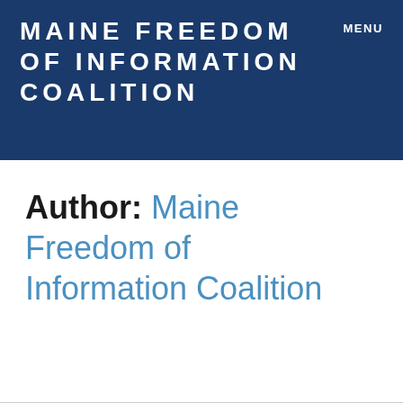MAINE FREEDOM OF INFORMATION COALITION
MENU
Author: Maine Freedom of Information Coalition